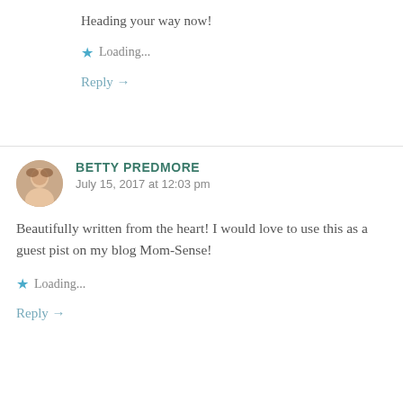Heading your way now!
Loading...
Reply →
BETTY PREDMORE
July 15, 2017 at 12:03 pm
Beautifully written from the heart! I would love to use this as a guest pist on my blog Mom-Sense!
Loading...
Reply →